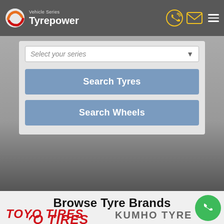Tyrepower — Vehicle Series — Select your series
Select your series
Search Tyres
Search Wheels
Browse Tyre Brands
[Figure (logo): TOYO TIRES logo in red italic bold text]
[Figure (logo): KUMHO TYRE logo in grey bold text]